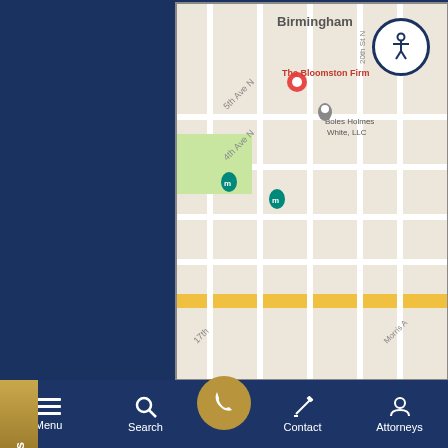[Figure (map): Google Maps screenshot showing Birmingham city grid with The Bloomston Firm location marked with a red pin, also showing Boles Holmes White LLC marker. Streets visible include 5th Ave N, 4th Ave N, 17th St, Morris Ave.]
Contact Us
OFFICE LOCATION
[Figure (illustration): Location pin / map marker icon in dark navy blue outline style]
Menu  Search  [phone]  Contact  Attorneys